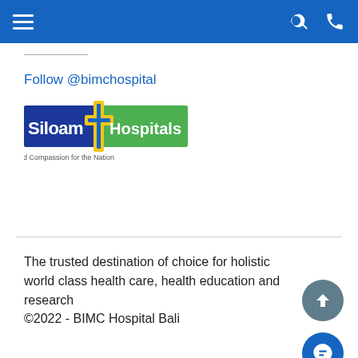Navigation bar with hamburger menu, search and phone icons
Follow @bimchospital
[Figure (logo): Siloam Hospitals logo with cross icon and tagline 'Care and Compassion for the Nation']
The trusted destination of choice for holistic world class health care, health education and research
©2022 - BIMC Hospital Bali